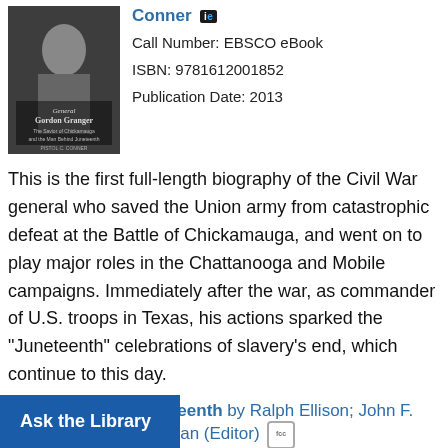[Figure (photo): Book cover of General Gordon Granger showing a Civil War era portrait photograph]
Conner [ie]
Call Number: EBSCO eBook
ISBN: 9781612001852
Publication Date: 2013
This is the first full-length biography of the Civil War general who saved the Union army from catastrophic defeat at the Battle of Chickamauga, and went on to play major roles in the Chattanooga and Mobile campaigns. Immediately after the war, as commander of U.S. troops in Texas, his actions sparked the "Juneteenth" celebrations of slavery's end, which continue to this day.
[Figure (photo): Book cover of Juneteenth by Ralph Ellison - dark cover with author name and title in orange/red text]
Juneteenth by Ralph Ellison; John F. Callahan (Editor) [fcc]
ISBN: 0394464575
Publication Date: 1999-05-29
Ask the Library